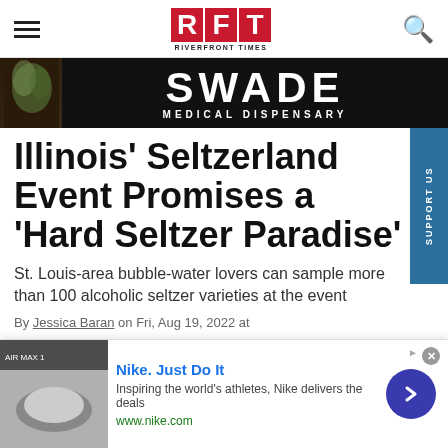RFT RIVERFRONT TIMES
[Figure (photo): SWADE Medical Dispensary advertisement banner with dark background, flowers on left, bold white text reading SWADE MEDICAL DISPENSARY]
Illinois' Seltzerland Event Promises a 'Hard Seltzer Paradise'
St. Louis-area bubble-water lovers can sample more than 100 alcoholic seltzer varieties at the event
By Jessica Baran on Fri, Aug 19, 2022 at
[Figure (photo): Nike advertisement overlay at bottom of page. Nike Just Do It ad with shoe image thumbnail, text: Inspiring the world's athletes, Nike delivers the deals, www.nike.com, with blue arrow button and X close button]